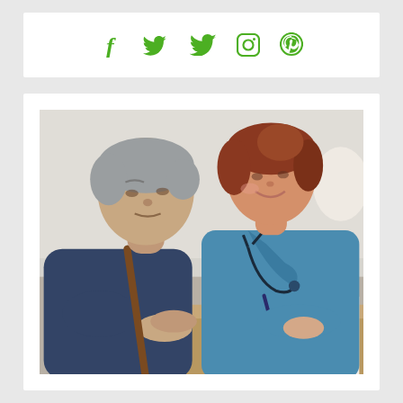[Figure (other): Social media icons (Facebook, Twitter, Instagram, Pinterest) displayed in green color on a white card background]
[Figure (photo): Elderly man with grey hair holding a cane sitting next to a smiling female nurse/healthcare worker in blue scrubs with a stethoscope, reviewing paperwork together at a table. Room with soft blurred background.]